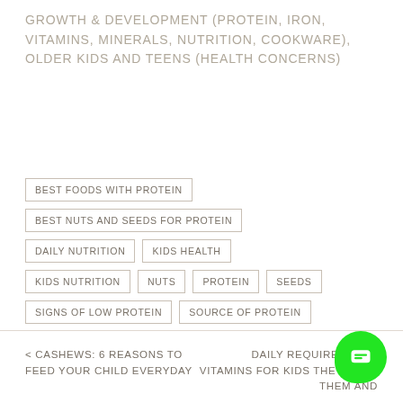GROWTH & DEVELOPMENT (PROTEIN, IRON, VITAMINS, MINERALS, NUTRITION, COOKWARE), OLDER KIDS AND TEENS (HEALTH CONCERNS)
BEST FOODS WITH PROTEIN
BEST NUTS AND SEEDS FOR PROTEIN
DAILY NUTRITION
KIDS HEALTH
KIDS NUTRITION
NUTS
PROTEIN
SEEDS
SIGNS OF LOW PROTEIN
SOURCE OF PROTEIN
< CASHEWS: 6 REASONS TO FEED YOUR CHILD EVERYDAY    DAILY REQUIREMENTS VITAMINS FOR KIDS THEY NEED THEM AND